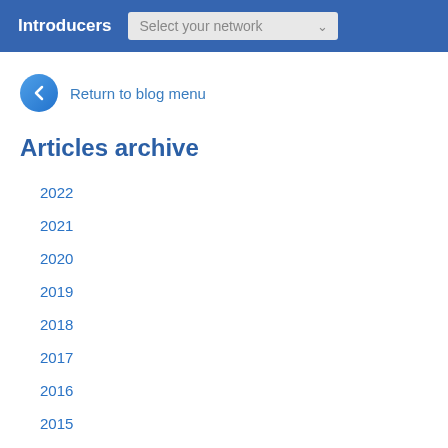Introducers  Select your network
Return to blog menu
Articles archive
2022
2021
2020
2019
2018
2017
2016
2015
2014
View all